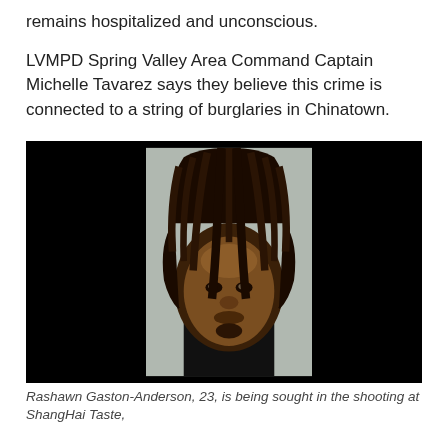remains hospitalized and unconscious.
LVMPD Spring Valley Area Command Captain Michelle Tavarez says they believe this crime is connected to a string of burglaries in Chinatown.
[Figure (photo): Mugshot photo of Rashawn Gaston-Anderson, 23, a young Black man with long dreadlocks, wearing a black shirt. The left and right portions of the image are blacked out, showing only the central face portion.]
Rashawn Gaston-Anderson, 23, is being sought in the shooting at ShangHai Taste,
About a week and a half ago, two Black men were seen entering a